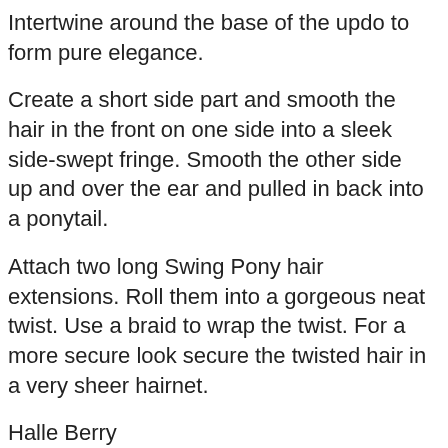Intertwine around the base of the updo to form pure elegance.
Create a short side part and smooth the hair in the front on one side into a sleek side-swept fringe. Smooth the other side up and over the ear and pulled in back into a ponytail.
Attach two long Swing Pony hair extensions. Roll them into a gorgeous neat twist. Use a braid to wrap the twist. For a more secure look secure the twisted hair in a very sheer hairnet.
Halle Berry